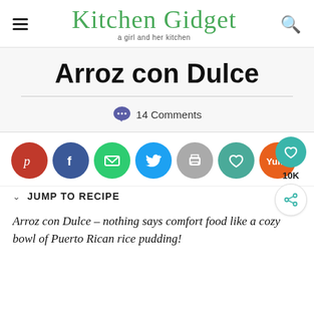Kitchen Gidget — a girl and her kitchen
Arroz con Dulce
14 Comments
[Figure (other): Social sharing buttons: Pinterest, Facebook, Email, Twitter, Print, Heart/Save, Yummly, plus sidebar heart (10K) and share button]
JUMP TO RECIPE
Arroz con Dulce – nothing says comfort food like a cozy bowl of Puerto Rican rice pudding!